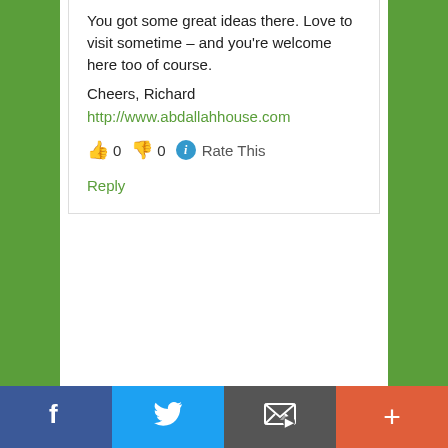You got some great ideas there. Love to visit sometime – and you're welcome here too of course.
Cheers, Richard
http://www.abdallahhouse.com
👍 0 👎 0 ℹ Rate This
Reply
[Figure (infographic): Social sharing bar with four buttons: Facebook (blue), Twitter (light blue), Email (gray), and More/Plus (orange-red)]